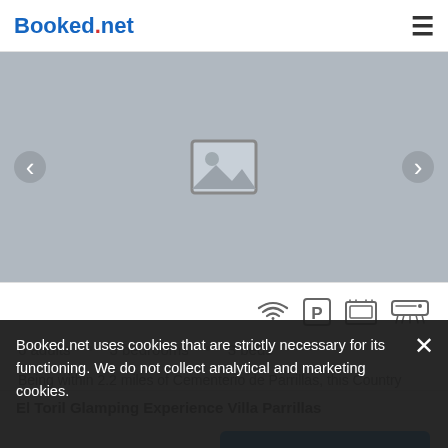Booked.net
[Figure (photo): Image placeholder area with gray background, previous and next navigation arrows, and a small image placeholder icon in the center]
6 adults • 3 bedrooms • 3 beds
Being within 2.2 miles of Cementerio de Parrillas, this Country house features a terrace.
SELECT
El Toril Glamping Experience Villa Parrillas
Booked.net uses cookies that are strictly necessary for its functioning. We do not collect analytical and marketing cookies.